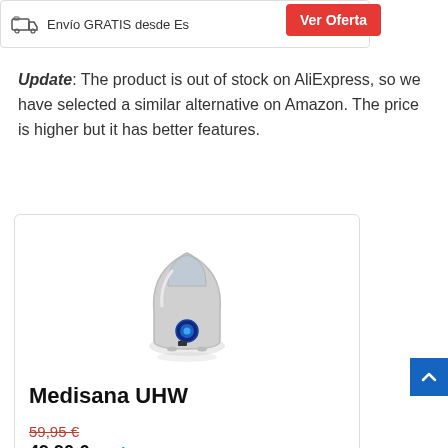[Figure (screenshot): Top banner with truck icon, text 'Envío GRATIS desde Es...' and a red 'Ver Oferta' button]
Update: The product is out of stock on AliExpress, so we have selected a similar alternative on Amazon. The price is higher but it has better features.
[Figure (photo): Product card showing a silver Medisana UHW humidifier with blue dial, priced at 49,90€ (was 59,95€) with Amazon Prime badge and Comprar button]